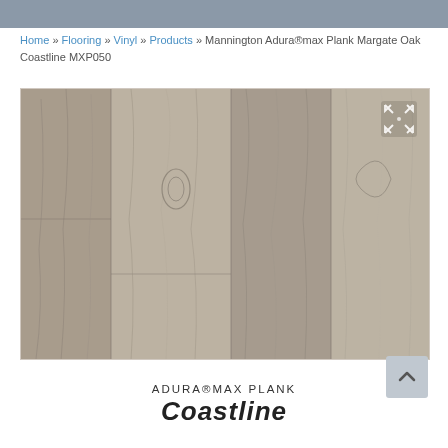Home » Flooring » Vinyl » Products » Mannington Adura®max Plank Margate Oak Coastline MXP050
[Figure (photo): Close-up photo of Mannington Adura®max Plank Margate Oak Coastline vinyl flooring planks showing gray-brown wood grain texture. An expand/fullscreen icon appears in the top-right corner of the image.]
ADURA®MAX PLANK Coastline